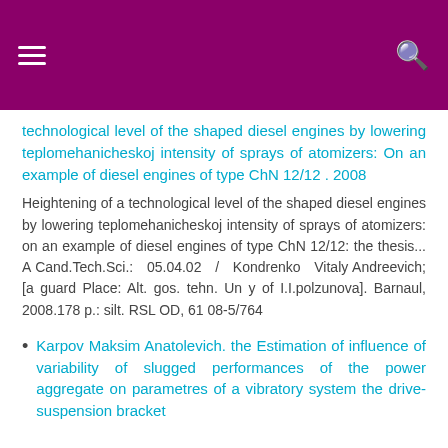Header bar with hamburger menu and search icon
technological level of the shaped diesel engines by lowering teplomehanicheskoj intensity of sprays of atomizers: On an example of diesel engines of type ChN 12/12 . 2008
Heightening of a technological level of the shaped diesel engines by lowering teplomehanicheskoj intensity of sprays of atomizers: on an example of diesel engines of type ChN 12/12: the thesis... A Cand.Tech.Sci.: 05.04.02 / Kondrenko Vitaly Andreevich; [a guard Place: Alt. gos. tehn. Un y of I.I.polzunova]. Barnaul, 2008.178 p.: silt. RSL OD, 61 08-5/764
Karpov Maksim Anatolevich. the Estimation of influence of variability of slugged performances of the power aggregate on parametres of a vibratory system the drive-suspension bracket